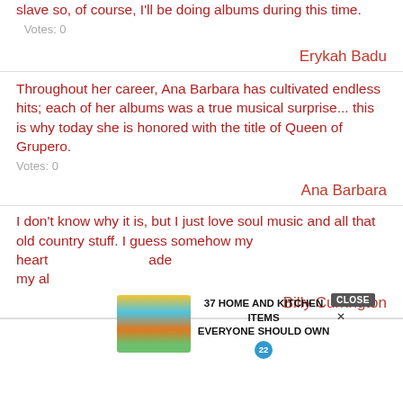slave so, of course, I'll be doing albums during this time.   Votes: 0
Erykah Badu
Throughout her career, Ana Barbara has cultivated endless hits; each of her albums was a true musical surprise... this is why today she is honored with the title of Queen of Grupero.   Votes: 0
Ana Barbara
I don't know why it is, but I just love soul music and all that old country stuff. I guess somehow my heart... made my al...
Billy Currington